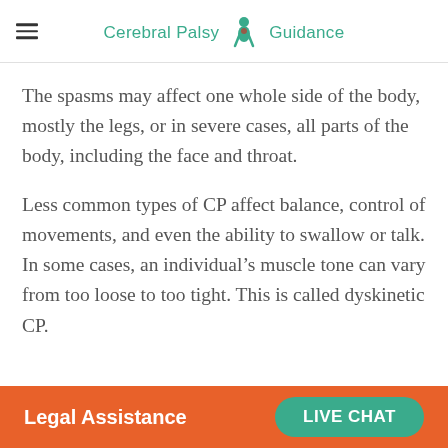Cerebral Palsy Guidance
The spasms may affect one whole side of the body, mostly the legs, or in severe cases, all parts of the body, including the face and throat.
Less common types of CP affect balance, control of movements, and even the ability to swallow or talk. In some cases, an individual's muscle tone can vary from too loose to too tight. This is called dyskinetic CP.
Legal Assistance   LIVE CHAT